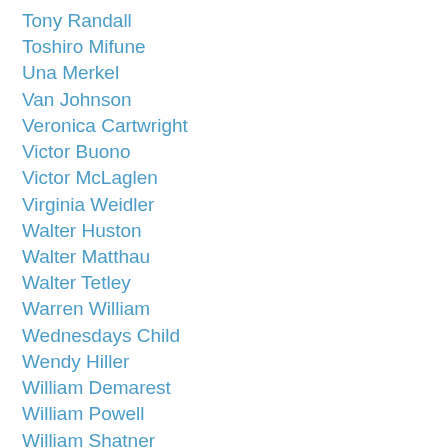Tony Randall
Toshiro Mifune
Una Merkel
Van Johnson
Veronica Cartwright
Victor Buono
Victor McLaglen
Virginia Weidler
Walter Huston
Walter Matthau
Walter Tetley
Warren William
Wednesdays Child
Wendy Hiller
William Demarest
William Powell
William Shatner
William Wyler
W.S. Van Dyke
Yasujiro Ozu
Zero Mostel